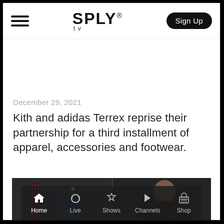SPLY® tv — Sign Up
December 29, 2021
Kith and adidas Terrex reprise their partnership for a third installment of apparel, accessories and footwear.
[Figure (photo): Two models wearing Kith x adidas Terrex apparel against a dark background. Left: a person in a red plaid and dark blue outfit holding a snowboard, wearing a helmet with light. Right: a bald man in a black zip-up jacket with arms crossed.]
Home  Live  Shows  Channels  Shop